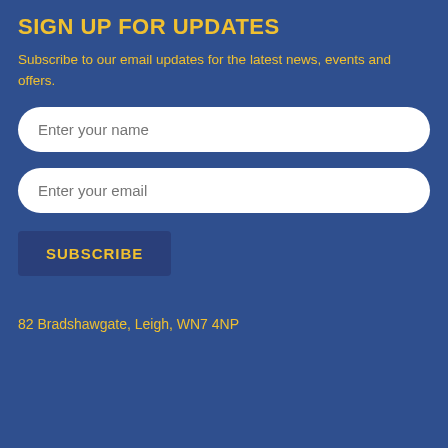SIGN UP FOR UPDATES
Subscribe to our email updates for the latest news, events and offers.
Enter your name
Enter your email
SUBSCRIBE
82 Bradshawgate, Leigh, WN7 4NP